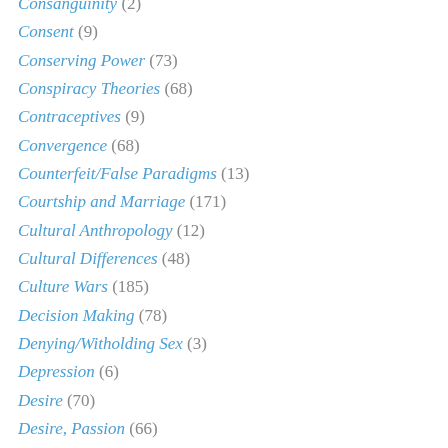Consanguinity (2)
Consent (9)
Conserving Power (73)
Conspiracy Theories (68)
Contraceptives (9)
Convergence (68)
Counterfeit/False Paradigms (13)
Courtship and Marriage (171)
Cultural Anthropology (12)
Cultural Differences (48)
Culture Wars (185)
Decision Making (78)
Denying/Witholding Sex (3)
Depression (6)
Desire (70)
Desire, Passion (66)
Determination (74)
Diet and Nutrition (9)
Discerning Lies and Deception (194)
Discernment, Wisdom (262)